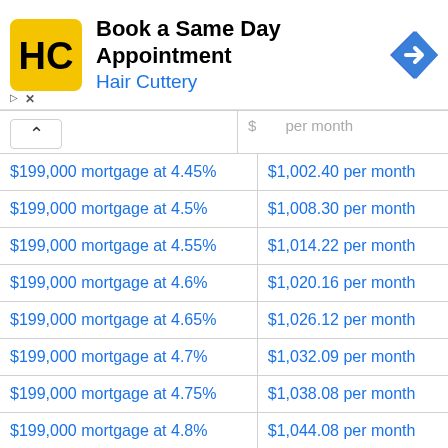[Figure (other): Hair Cuttery advertisement banner: 'Book a Same Day Appointment' with Hair Cuttery logo and navigation arrow icon]
| Mortgage | Monthly Payment |
| --- | --- |
| $199,000 mortgage at 4.45% | $1,002.40 per month |
| $199,000 mortgage at 4.5% | $1,008.30 per month |
| $199,000 mortgage at 4.55% | $1,014.22 per month |
| $199,000 mortgage at 4.6% | $1,020.16 per month |
| $199,000 mortgage at 4.65% | $1,026.12 per month |
| $199,000 mortgage at 4.7% | $1,032.09 per month |
| $199,000 mortgage at 4.75% | $1,038.08 per month |
| $199,000 mortgage at 4.8% | $1,044.08 per month |
| $199,000 mortgage at 4.85% | $1,050.11 per month |
| $199,000 mortgage at 4.9% | $1,056.15 per month |